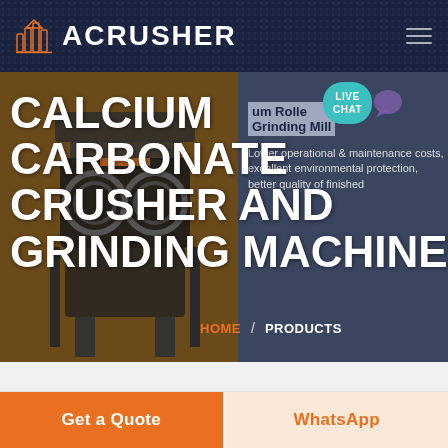ACRUSHER
CALCIUM CARBONATE CRUSHER AND GRINDING MACHINE
um Roller Grinding Mill
Lower operational & maintenance costs, excellent environmental protection, better quality of finished
LIVE CHAT
HOME / PRODUCTS
Get a Quote
WhatsApp